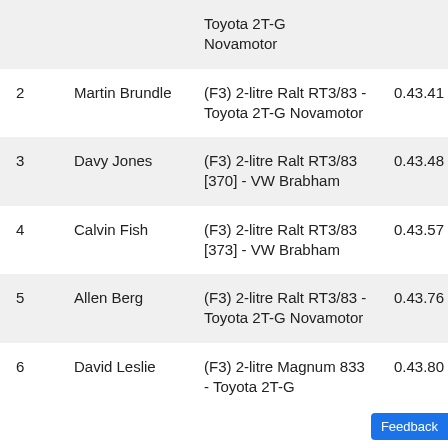| # | Driver | Car | Time |
| --- | --- | --- | --- |
|  |  | Toyota 2T-G Novamotor |  |
| 2 | Martin Brundle | (F3) 2-litre Ralt RT3/83 - Toyota 2T-G Novamotor | 0.43.41 |
| 3 | Davy Jones | (F3) 2-litre Ralt RT3/83 [370] - VW Brabham | 0.43.48 |
| 4 | Calvin Fish | (F3) 2-litre Ralt RT3/83 [373] - VW Brabham | 0.43.57 |
| 5 | Allen Berg | (F3) 2-litre Ralt RT3/83 - Toyota 2T-G Novamotor | 0.43.76 |
| 6 | David Leslie | (F3) 2-litre Magnum 833 - Toyota 2T-G | 0.43.80 |